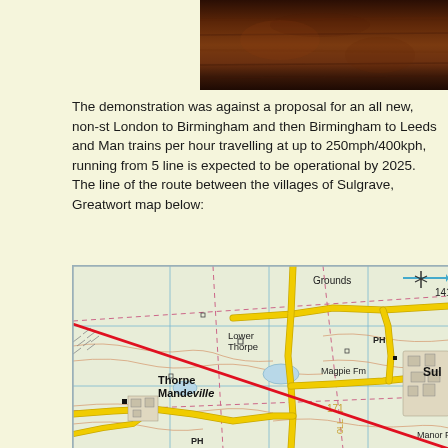[Figure (photo): Aerial or landscape photograph showing dark earthy/terrain surface, partially visible at top of page]
The demonstration was against a proposal for an all new, non-stop London to Birmingham and then Birmingham to Leeds and Manchester trains per hour travelling at up to 250mph/400kph, running from 5... line is expected to be operational by 2025.
The line of the route between the villages of Sulgrave, Greatworth... map below:
[Figure (map): Ordnance Survey style map showing area around Thorpe Mandeville, Lower Thorpe, Sulgrave and surrounding villages. Yellow roads visible. A red diagonal line crosses the map indicating the proposed HS2 railway route. Grid references and place names including Grounds, Magpie Fm, Manor Fm, PH markers visible. Number 141 and 171 visible as height/grid markers.]